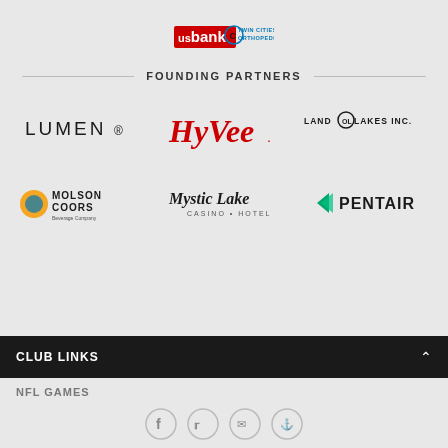[Figure (logo): US Bank logo and Twin Cities Orthopedics logo side by side as main sponsors]
FOUNDING PARTNERS
[Figure (logo): Lumen logo]
[Figure (logo): Hy-Vee logo in red script]
[Figure (logo): Land O'Lakes Inc. logo]
[Figure (logo): Molson Coors Beverage Company logo]
[Figure (logo): Mystic Lake Casino Hotel logo]
[Figure (logo): Pentair logo]
CLUB LINKS
NFL GAMES